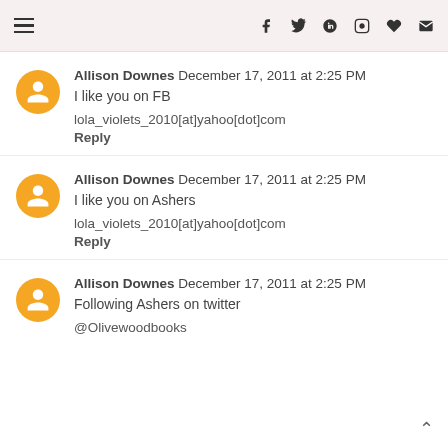navigation and social icons header
Allison Downes December 17, 2011 at 2:25 PM
I like you on FB
lola_violets_2010[at]yahoo[dot]com
Reply
Allison Downes December 17, 2011 at 2:25 PM
I like you on Ashers
lola_violets_2010[at]yahoo[dot]com
Reply
Allison Downes December 17, 2011 at 2:25 PM
Following Ashers on twitter
@Olivewoodbooks